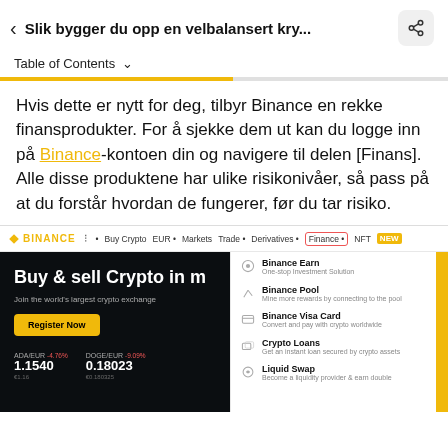< Slik bygger du opp en velbalansert kry...
Table of Contents ▾
Hvis dette er nytt for deg, tilbyr Binance en rekke finansprodukter. For å sjekke dem ut kan du logge inn på Binance-kontoen din og navigere til delen [Finans]. Alle disse produktene har ulike risikonivåer, så pass på at du forstår hvordan de fungerer, før du tar risiko.
[Figure (screenshot): Screenshot of Binance website showing the Finance dropdown menu with options: Binance Earn (One-stop Investment Solution), Binance Pool (Mine more rewards by connecting to the pool), Binance Visa Card (Convert and pay with crypto worldwide), Crypto Loans (Get an instant loan secured by crypto assets), Liquid Swap (Become a liquidity provider & earn double). Left side shows the main Binance homepage hero section with 'Buy & sell Crypto in m...' text, 'Join the world's largest crypto exchange', Register Now button, and ADA/EUR and DOGE/EUR ticker prices.]